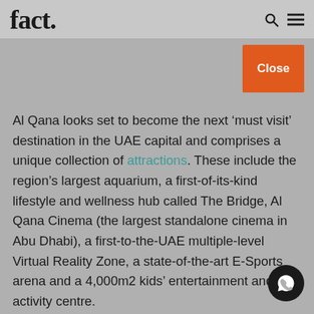fact.
Close
Al Qana looks set to become the next ‘must visit’ destination in the UAE capital and comprises a unique collection of attractions. These include the region’s largest aquarium, a first-of-its-kind lifestyle and wellness hub called The Bridge, Al Qana Cinema (the largest standalone cinema in Abu Dhabi), a first-to-the-UAE multiple-level Virtual Reality Zone, a state-of-the-art E-Sports arena and a 4,000m2 kids’ entertainment and activity centre.